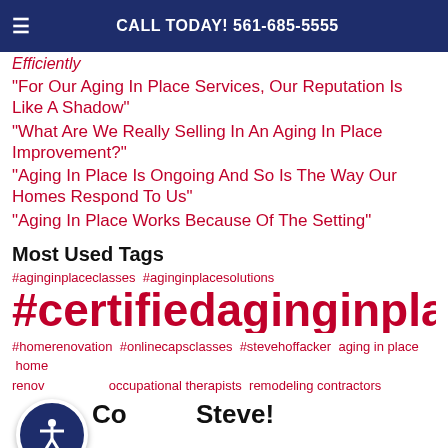CALL TODAY! 561-685-5555
“For Our Aging In Place Services, Our Reputation Is Like A Shadow”
“What Are We Really Selling In An Aging In Place Improvement?”
“Aging In Place Is Ongoing And So Is The Way Our Homes Respond To Us”
“Aging In Place Works Because Of The Setting”
Most Used Tags
#aginginplaceclasses #aginginplacesolutions
#certifieddaginginplacespecial
#homerenovation #onlinecapsclasses #stevehoffacker aging in place home renovation occupational therapists remodeling contractors
Contact Steve!